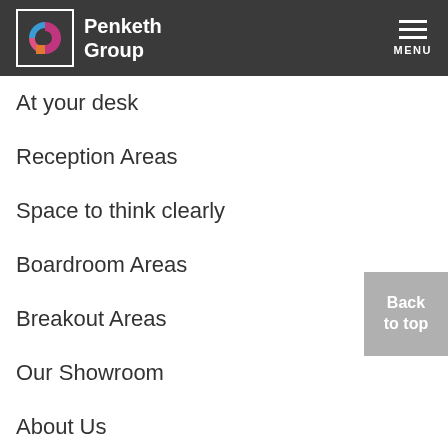Penketh Group
At your desk
Reception Areas
Space to think clearly
Boardroom Areas
Breakout Areas
Our Showroom
About Us
Our Experts